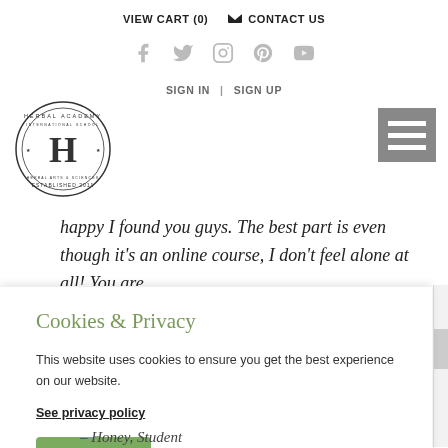VIEW CART (0)   CONTACT US
[Figure (infographic): Social media icons row: Facebook, Twitter, Instagram, Pinterest, YouTube in light gray]
SIGN IN  |  SIGN UP
[Figure (logo): Herbal Academy International School circular stamp logo with H in the center, Established 2011]
[Figure (other): Hamburger menu icon with three horizontal white lines on gray background]
happy I found you guys. The best part is even though it's an online course, I don't feel alone at all! You are
Cookies & Privacy
This website uses cookies to ensure you get the best experience on our website.
See privacy policy
Accept
– Honey, Student